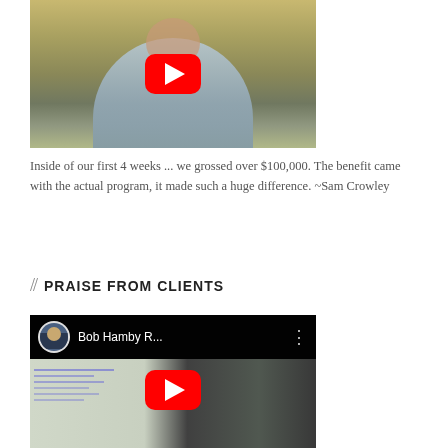[Figure (screenshot): YouTube video thumbnail showing a man in a blue shirt with a red YouTube play button overlay]
Inside of our first 4 weeks ... we grossed over $100,000. The benefit came with the actual program, it made such a huge difference. ~Sam Crowley
// PRAISE FROM CLIENTS
[Figure (screenshot): YouTube video thumbnail for 'Bob Hamby R...' showing a bald man in front of a whiteboard with a red YouTube play button overlay]